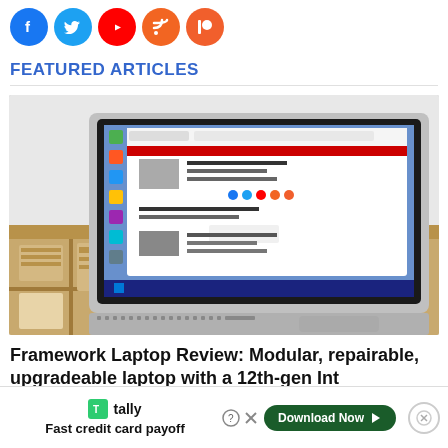[Figure (logo): Row of 5 social media icon buttons: Facebook (blue), Twitter (blue), YouTube (red), RSS (orange), Patreon (orange-red)]
FEATURED ARTICLES
[Figure (photo): Framework laptop open and showing Windows 11 desktop with a tech blog visible on screen, laptop resting in a cardboard box with modular components in separate compartments below]
Framework Laptop Review: Modular, repairable, upgradeable laptop with a 12th-gen Int
[Figure (other): Advertisement banner: Tally app ad with logo, text 'Fast credit card payoff', Download Now button, help and close icons]